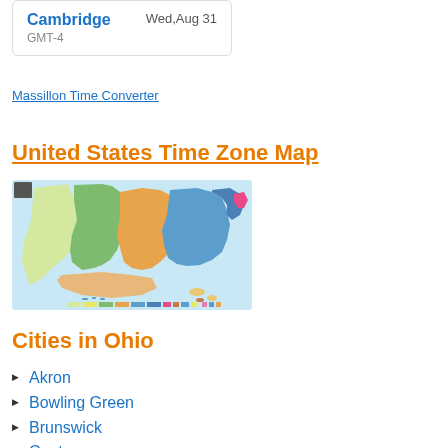Cambridge GMT-4 Wed,Aug 31
Massillon Time Converter
United States Time Zone Map
[Figure (map): United States Time Zone Map showing different time zones in color: yellow for Pacific, green for Mountain, orange for Central, blue for Eastern, and pink/magenta for Atlantic regions.]
Cities in Ohio
Akron
Bowling Green
Brunswick
Canton
Cincinnati
Cleveland